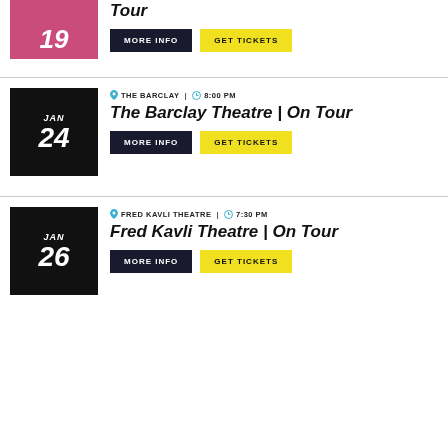[Figure (photo): Partial event thumbnail showing day 19, pink background with dancer]
Tour
MORE INFO | GET TICKETS (top section)
[Figure (photo): Event thumbnail JAN 24, dark background with performer]
THE BARCLAY | 8:00 PM
The Barclay Theatre | On Tour
MORE INFO | GET TICKETS (Barclay section)
[Figure (photo): Event thumbnail JAN 26, dark background with performers]
FRED KAVLI THEATRE | 7:30 PM
Fred Kavli Theatre | On Tour
MORE INFO | GET TICKETS (Fred Kavli section)